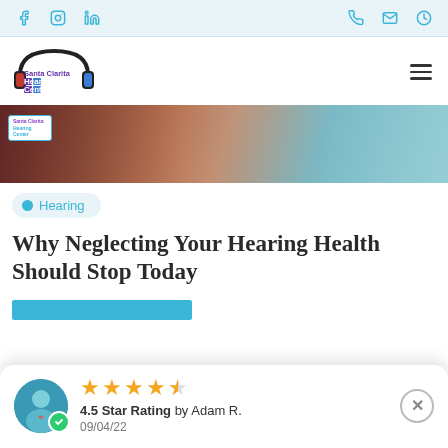Navigation bar with social icons (Facebook, Instagram, LinkedIn) and contact icons (phone, email, clock)
[Figure (logo): Santa Clarita Hearing Center logo with headphones graphic and purple/blue text]
[Figure (photo): Hero image showing two people, one holding the other's hand, a healthcare consultation scene]
Hearing
Why Neglecting Your Hearing Health Should Stop Today
[Figure (other): Blue horizontal bar/button element]
4.5 Star Rating by Adam R. 09/04/22